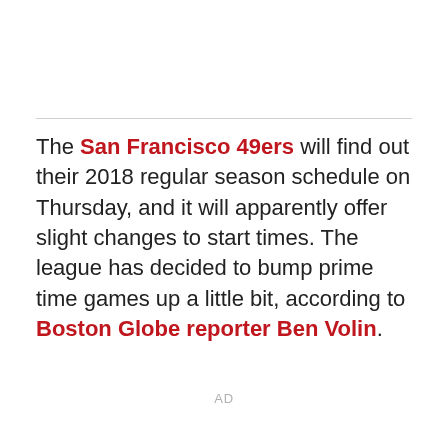The San Francisco 49ers will find out their 2018 regular season schedule on Thursday, and it will apparently offer slight changes to start times. The league has decided to bump prime time games up a little bit, according to Boston Globe reporter Ben Volin.
AD